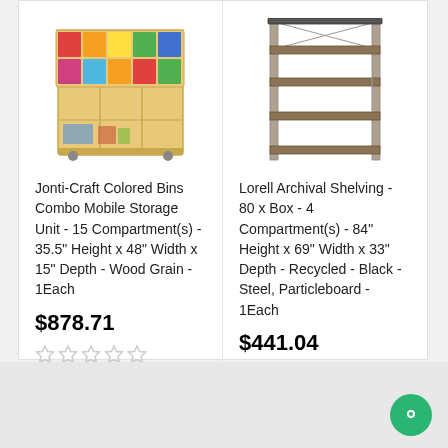[Figure (photo): Jonti-Craft Colored Bins Combo Mobile Storage Unit with colorful bins on top and open compartments below]
[Figure (photo): Lorell Archival Shelving with 4 metal shelves and particleboard shelves, black steel frame]
Jonti-Craft Colored Bins Combo Mobile Storage Unit - 15 Compartment(s) - 35.5" Height x 48" Width x 15" Depth - Wood Grain - 1Each
Lorell Archival Shelving - 80 x Box - 4 Compartment(s) - 84" Height x 69" Width x 33" Depth - Recycled - Black - Steel, Particleboard - 1Each
$878.71
$441.04